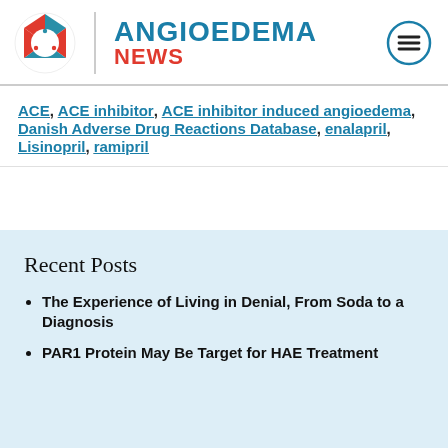[Figure (logo): Angioedema News logo with hexagonal icon showing red and teal segments with dots, vertical divider, and text ANGIOEDEMA NEWS in blue and red, with hamburger menu icon in circle on right]
ACE, ACE inhibitor, ACE inhibitor induced angioedema, Danish Adverse Drug Reactions Database, enalapril, Lisinopril, ramipril
Recent Posts
The Experience of Living in Denial, From Soda to a Diagnosis
PAR1 Protein May Be Target for HAE Treatment